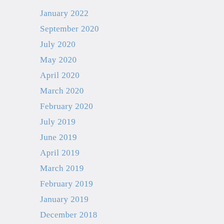January 2022
September 2020
July 2020
May 2020
April 2020
March 2020
February 2020
July 2019
June 2019
April 2019
March 2019
February 2019
January 2019
December 2018